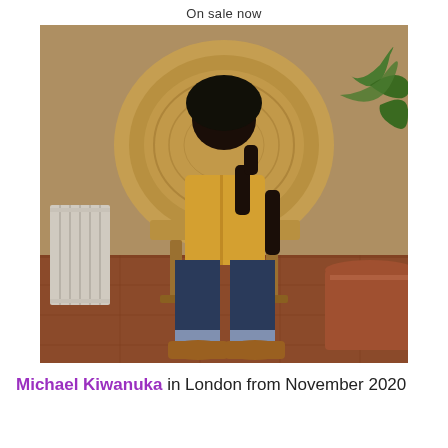On sale now
[Figure (photo): Michael Kiwanuka seated in a large wicker peacock chair, wearing a yellow shirt, dark jeans with cuffed hems, and tan suede shoes. A radiator is visible on the left and a large potted plant on the right. Brick wall background with terracotta tile floor.]
Michael Kiwanuka in London from November 2020